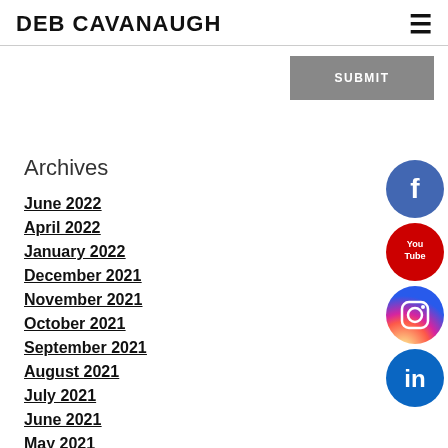DEB CAVANAUGH
SUBMIT
Archives
June 2022
April 2022
January 2022
December 2021
November 2021
October 2021
September 2021
August 2021
July 2021
June 2021
May 2021
[Figure (other): Social media icon buttons: Facebook (blue circle), YouTube (red circle), Instagram (pink/purple circle), LinkedIn (blue circle)]